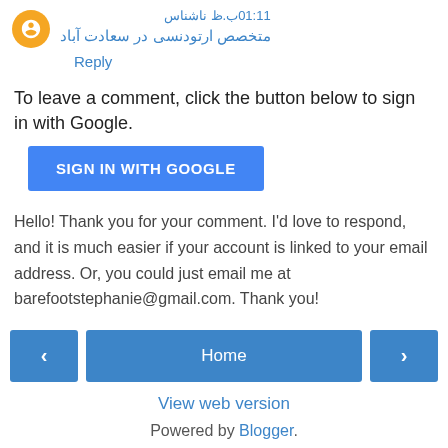متخصص ارتودنسی در سعادت آباد
Reply
To leave a comment, click the button below to sign in with Google.
SIGN IN WITH GOOGLE
Hello! Thank you for your comment. I'd love to respond, and it is much easier if your account is linked to your email address. Or, you could just email me at barefootstephanie@gmail.com. Thank you!
Home
View web version
Powered by Blogger.